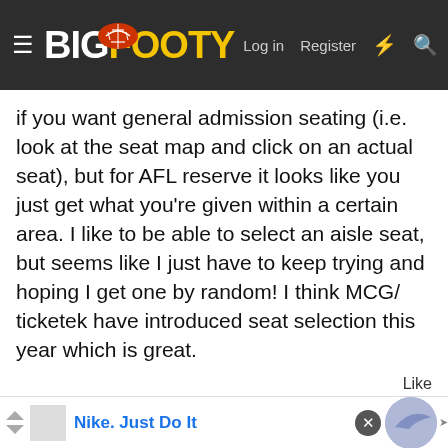BigFooty — Log in  Register
if you want general admission seating (i.e. look at the seat map and click on an actual seat), but for AFL reserve it looks like you just get what you're given within a certain area. I like to be able to select an aisle seat, but seems like I just have to keep trying and hoping I get one by random! I think MCG/ ticketek have introduced seat selection this year which is great.
Like
Demonic Ascent
Bang! Bang bang bang!